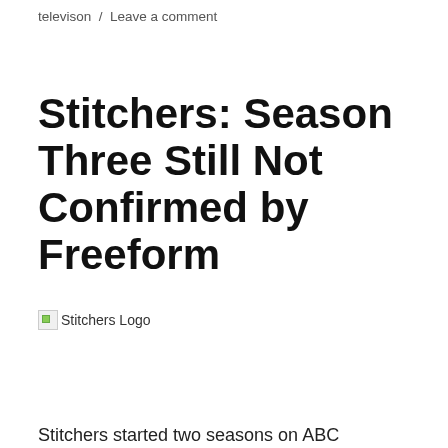televison / Leave a comment
Stitchers: Season Three Still Not Confirmed by Freeform
[Figure (photo): Broken image placeholder with alt text 'Stitchers Logo']
Stitchers started two seasons on ABC